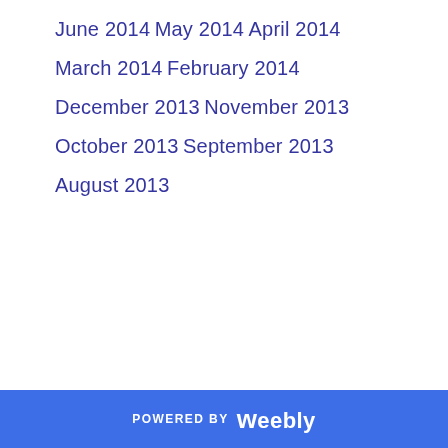June 2014
May 2014
April 2014
March 2014
February 2014
December 2013
November 2013
October 2013
September 2013
August 2013
POWERED BY weebly